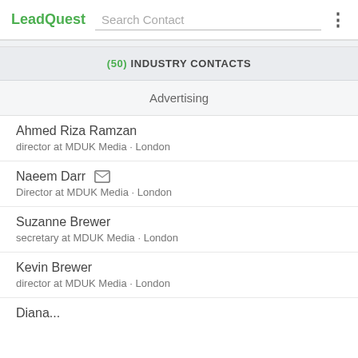LeadQuest | Search Contact
(50) INDUSTRY CONTACTS
Advertising
Ahmed Riza Ramzan
director at MDUK Media · London
Naeem Darr
Director at MDUK Media · London
Suzanne Brewer
secretary at MDUK Media · London
Kevin Brewer
director at MDUK Media · London
Diana...